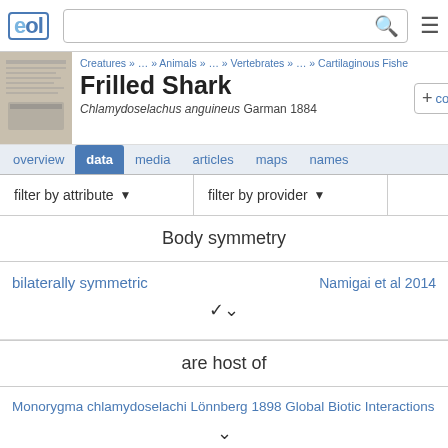EOL - Encyclopedia of Life header with search bar
[Figure (screenshot): Thumbnail image of a document page]
Creatures » … » Animals » … » Vertebrates » … » Cartilaginous Fishe
Frilled Shark
Chlamydoselachus anguineus Garman 1884
+ colle
overview | data | media | articles | maps | names
filter by attribute ▼   filter by provider ▼
Body symmetry
bilaterally symmetric
Namigai et al 2014
are host of
Monorygma chlamydoselachi Lönnberg 1898 Global Biotic Interactions
are parasitized by